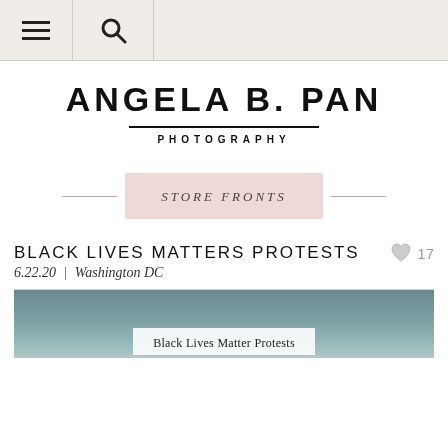Menu | Search
ANGELA B. PAN
PHOTOGRAPHY
STORE FRONTS
BLACK LIVES MATTERS PROTESTS
6.22.20 | Washington DC
[Figure (photo): Partial photo preview showing a gray-blue sky with a white caption box reading 'Black Lives Matter Protests']